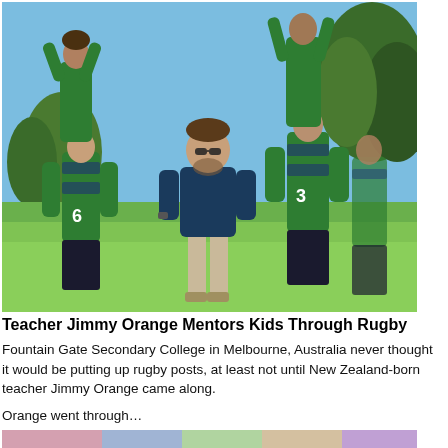[Figure (photo): Outdoor photo of a coach in a navy polo shirt walking on grass toward camera, with young rugby players in green and navy striped jerseys and dark shorts lifting teammates high into the air on each side. Blue sky and trees in background.]
Teacher Jimmy Orange Mentors Kids Through Rugby
Fountain Gate Secondary College in Melbourne, Australia never thought it would be putting up rugby posts, at least not until New Zealand-born teacher Jimmy Orange came along.
Orange went through…
[Figure (photo): Partial bottom strip of another photo, showing colorful figures, partially visible.]